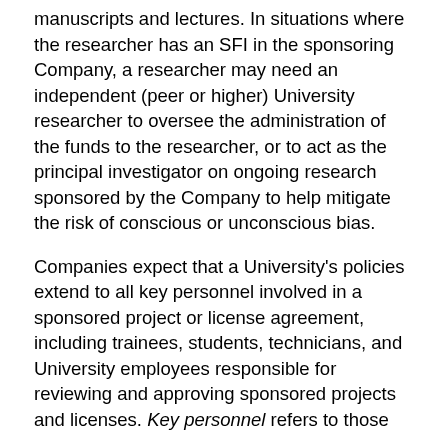manuscripts and lectures. In situations where the researcher has an SFI in the sponsoring Company, a researcher may need an independent (peer or higher) University researcher to oversee the administration of the funds to the researcher, or to act as the principal investigator on ongoing research sponsored by the Company to help mitigate the risk of conscious or unconscious bias.
Companies expect that a University's policies extend to all key personnel involved in a sponsored project or license agreement, including trainees, students, technicians, and University employees responsible for reviewing and approving sponsored projects and licenses. Key personnel refers to those